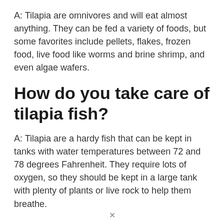A: Tilapia are omnivores and will eat almost anything. They can be fed a variety of foods, but some favorites include pellets, flakes, frozen food, live food like worms and brine shrimp, and even algae wafers.
How do you take care of tilapia fish?
A: Tilapia are a hardy fish that can be kept in tanks with water temperatures between 72 and 78 degrees Fahrenheit. They require lots of oxygen, so they should be kept in a large tank with plenty of plants or live rock to help them breathe.